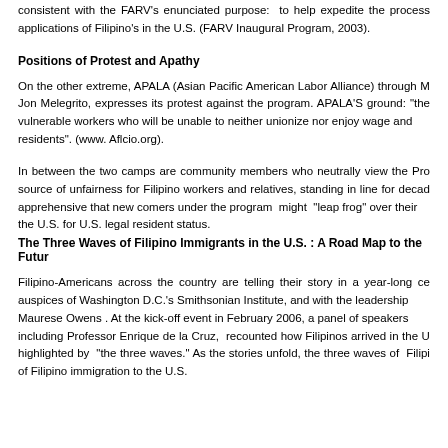consistent with the FARV's enunciated purpose: to help expedite the process applications of Filipino's in the U.S. (FARV Inaugural Program, 2003).
Positions of Protest and Apathy
On the other extreme, APALA (Asian Pacific American Labor Alliance) through Jon Melegrito, expresses its protest against the program. APALA'S ground: "the vulnerable workers who will be unable to neither unionize nor enjoy wage and residents". (www. Aflcio.org).
In between the two camps are community members who neutrally view the Program as source of unfairness for Filipino workers and relatives, standing in line for decades, apprehensive that new comers under the program might "leap frog" over their in the U.S. for U.S. legal resident status.
The Three Waves of Filipino Immigrants in the U.S. : A Road Map to the Future
Filipino-Americans across the country are telling their story in a year-long celebration auspices of Washington D.C.'s Smithsonian Institute, and with the leadership of Maurese Owens . At the kick-off event in February 2006, a panel of speakers including Professor Enrique de la Cruz, recounted how Filipinos arrived in the U.S. highlighted by "the three waves." As the stories unfold, the three waves of Filipino immigration to the U.S.